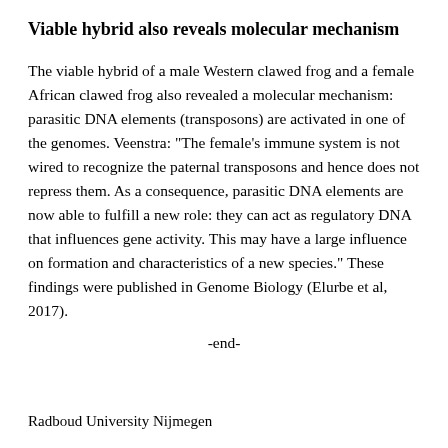Viable hybrid also reveals molecular mechanism
The viable hybrid of a male Western clawed frog and a female African clawed frog also revealed a molecular mechanism: parasitic DNA elements (transposons) are activated in one of the genomes. Veenstra: "The female's immune system is not wired to recognize the paternal transposons and hence does not repress them. As a consequence, parasitic DNA elements are now able to fulfill a new role: they can act as regulatory DNA that influences gene activity. This may have a large influence on formation and characteristics of a new species." These findings were published in Genome Biology (Elurbe et al, 2017).

-end-
Radboud University Nijmegen